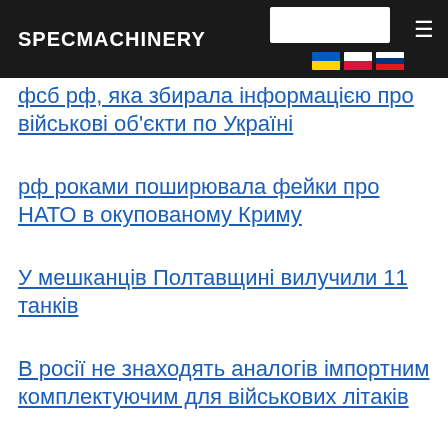SPECMACHINERY
фсб рф, яка збирала інформацією про військові об'єкти по Україні
рф роками поширювала фейки про НАТО в окупованому Криму
У мешканців Полтавщині вилучили 11 танків
В росії не знаходять аналогів імпортним комплектуючим для військових літаків